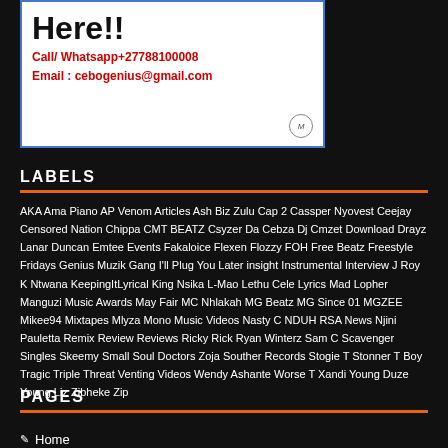[Figure (illustration): Billboard advertisement image showing 'Advertise Here!!' text with contact details: Call/Whatsapp+27788100008, Email: cebogenius@gmail.com, with a person painting the billboard]
LABELS
AKA Ama Piano AP Venom Articles Ash Biz Zulu Cap 2 Cassper Nyovest Ceejay Censored Nation Chippa CMT BEATZ Csyzer Da Cebza Dj Cmzet Download Drayz Lanar Duncan Emtee Events Fakaloice Flexen Flozzy FOH Free Beatz Freestyle Fridays Genius Muzik Gang I'll Plug You Later insight Instrumental Interview J Roy K Ntwana KeepingItLyrical King Nsika L-Mao Lethu Cele Lyrics Mad Lopher Manguzi Music Awards May Fair MC Nhlakah MG Beatz MG Since 01 MGZEE Mikee94 Mixtapes Mlyza Mono Music Videos Nasty C NDUH RSA News Njini Pauletta Remix Review Reviews Ricky Rick Ryan Winterz Sam C Scavenger Singles Skeemy Small Soul Doctors Zoja Souther Records Stogie T Stonner T Boy Tragic Triple Threat Venting Videos Wendy Ashante Worse T Xandi Young Duze Young Liz Zibheke Zip
PAGES
Home